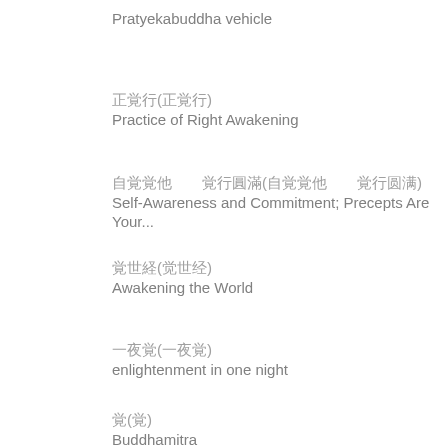Pratyekabuddha vehicle
正覚行(正覚行)
Practice of Right Awakening
自覚覚他　覚行圓滿(自覚覚他　覚行圆满)
Self-Awareness and Commitment; Precepts Are Your...
覚世経(觉世经)
Awakening the World
一夜覚(一夜覚)
enlightenment in one night
佛馱蜜(佛陀密)
Buddhamitra
覚衆週刊(觉众周刊)
Awaken the Masses Weekly; Awakening the Multitud...
覚群(觉群)